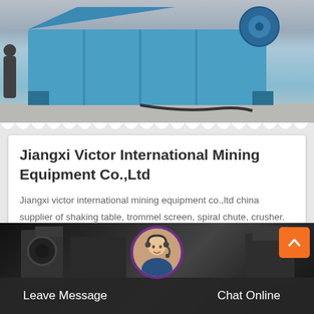[Figure (photo): Blue industrial mining/crushing machine on a concrete floor, photographed outdoors. Machine appears to be a large jaw crusher or vibrating screen in blue color. A person is partially visible in the background.]
Jiangxi Victor International Mining Equipment Co.,Ltd
Jiangxi victor international mining equipment co.,ltd china supplier of shaking table, trommel screen, spiral chute, crusher.
[Figure (photo): Dark industrial machinery in the background, with a customer service representative avatar (woman with headset) in a circular badge. Bottom navigation bar with Leave Message and Chat Online buttons. Orange back-to-top arrow button in upper right.]